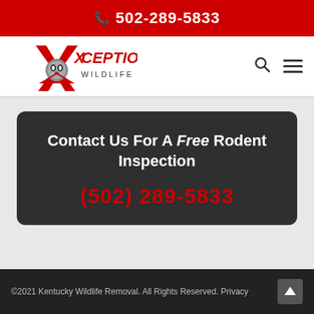502-289-5833
[Figure (logo): Xceptional Wildlife Removal logo with raccoon and red X arrows]
Contact Us For A Free Rodent Inspection
(502) 289-5833
©2021 Kentucky Wildlife Removal. All Rights Reserved. Privacy